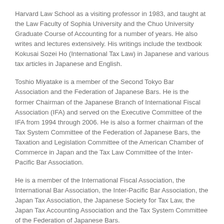Harvard Law School as a visiting professor in 1983, and taught at the Law Faculty of Sophia University and the Chuo University Graduate Course of Accounting for a number of years. He also writes and lectures extensively. His writings include the textbook Kokusai Sozei Ho (International Tax Law) in Japanese and various tax articles in Japanese and English.
Toshio Miyatake is a member of the Second Tokyo Bar Association and the Federation of Japanese Bars. He is the former Chairman of the Japanese Branch of International Fiscal Association (IFA) and served on the Executive Committee of the IFA from 1994 through 2006. He is also a former chairman of the Tax System Committee of the Federation of Japanese Bars, the Taxation and Legislation Committee of the American Chamber of Commerce in Japan and the Tax Law Committee of the Inter-Pacific Bar Association.
He is a member of the International Fiscal Association, the International Bar Association, the Inter-Pacific Bar Association, the Japan Tax Association, the Japanese Society for Tax Law, the Japan Tax Accounting Association and the Tax System Committee of the Federation of Japanese Bars.